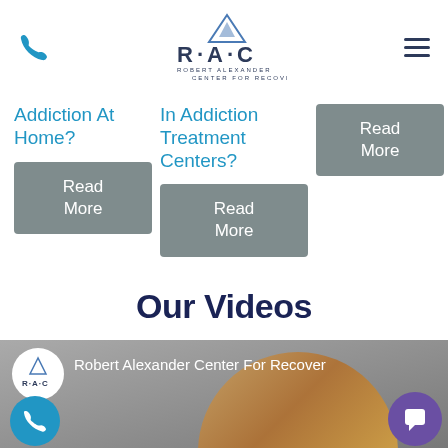[Figure (logo): RAC Robert Alexander Center For Recovery logo - mountain peak above R·A·C text]
Addiction At Home?
Read More
In Addiction Treatment Centers?
Read More
Read More
Our Videos
[Figure (screenshot): Video thumbnail showing Robert Alexander Center For Recovery with a woman with blonde hair, a phone call button, and a chat button]